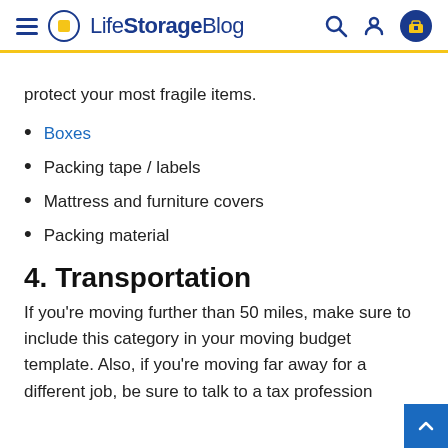Life Storage Blog
protect your most fragile items.
Boxes
Packing tape / labels
Mattress and furniture covers
Packing material
4. Transportation
If you're moving further than 50 miles, make sure to include this category in your moving budget template. Also, if you're moving far away for a different job, be sure to talk to a tax profession about deducting your moving expenses from